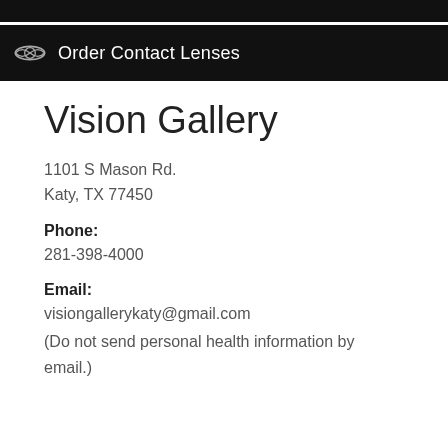Order Contact Lenses
Vision Gallery
1101 S Mason Rd.
Katy, TX 77450
Phone:
281-398-4000
Email:
visiongallerykaty@gmail.com
(Do not send personal health information by email.)